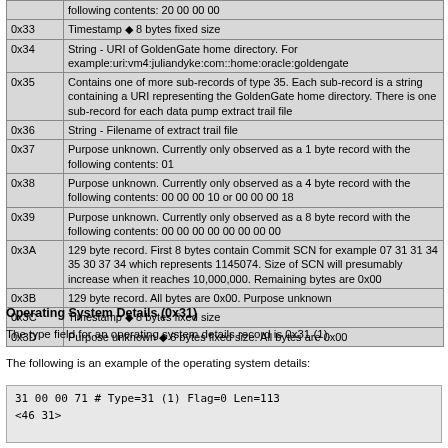| Type | Description |
| --- | --- |
|  | following contents: 20 00 00 00 |
| 0x33 | Timestamp ◆ 8 bytes fixed size |
| 0x34 | String - URI of GoldenGate home directory. For example:uri:vm4:juliandyke:com::home:oracle:goldengate |
| 0x35 | Contains one of more sub-records of type 35. Each sub-record is a string containing a URI representing the GoldenGate home directory. There is one sub-record for each data pump extract trail file |
| 0x36 | String - Filename of extract trail file |
| 0x37 | Purpose unknown. Currently only observed as a 1 byte record with the following contents: 01 |
| 0x38 | Purpose unknown. Currently only observed as a 4 byte record with the following contents: 00 00 00 10 or 00 00 00 18 |
| 0x39 | Purpose unknown. Currently only observed as a 8 byte record with the following contents: 00 00 00 00 00 00 00 00 |
| 0x3A | 129 byte record. First 8 bytes contain Commit SCN for example 07 31 31 34 35 30 37 34 which represents 1145074. Size of SCN will presumably increase when it reaches 10,000,000. Remaining bytes are 0x00 |
| 0x3B | 129 byte record. All bytes are 0x00. Purpose unknown |
| 0x3C | Timestamp ◆ 8 bytes fixed size |
| 0x3D | Purpose unknown ◆ 8 bytes fixed size. All bytes are 0x00 |
Operating System Details (0x31)
The type field for an operating system details record is 0x31 (1).
The following is an example of the operating system details:
31 00 00 71    # Type=31 (1) Flag=0 Len=113
<46 31>